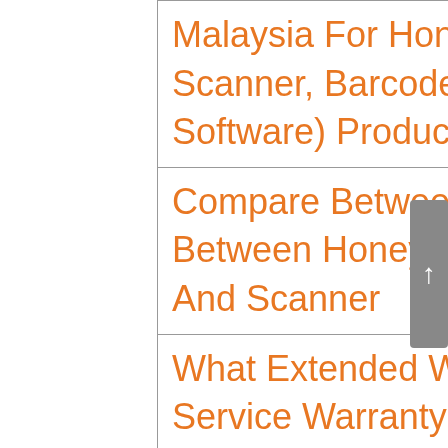Malaysia For Honeywell AIDC (Barcode Scanner, Barcode Printer And Barcode Software) Product For Year 2016
Compare Between Different Specification Between Honeywell Mobile Computer, Printer And Scanner
What Extended Warranty And Comprehensive Service Warranty Cover And How It Work For Your Honeywell